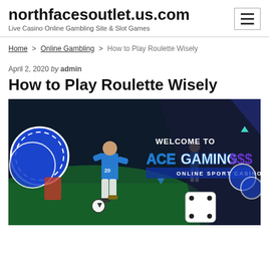northfacesoutlet.us.com
Live Casino Online Gambling Site & Slot Games
Home > Online Gambling > How to Play Roulette Wisely
April 2, 2020 by admin
How to Play Roulette Wisely
[Figure (photo): Promotional banner for ACE Gaming Online Sport Casino featuring a soccer player in blue uniform (number 20) dribbling, with casino chips and dice overlaid, text reading WELCOME TO ACE GAMING SSS ONLINE SPORT CASINO]